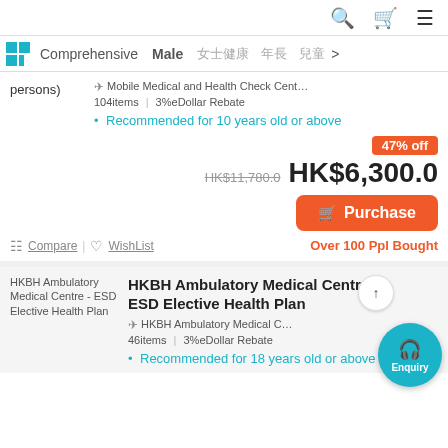Navigation bar with search, cart, and menu icons
Category tabs: Comprehensive, Male, [Chinese chars], [Chinese chars], [Chinese chars]
persons)
Mobile Medical and Health Check Cent… | 104items | 3%eDollar Rebate
Recommended for 10 years old or above
47% off
HK$11,780.0  HK$6,300.0
Purchase
Compare | WishList | Over 100 Ppl Bought
HKBH Ambulatory Medical Centre - ESD Elective Health Plan
HKBH Ambulatory Medical Centre - ESD Elective Health Plan
HKBH Ambulatory Medical C… | 46items | 3%eDollar Rebate
Recommended for 18 years old or above